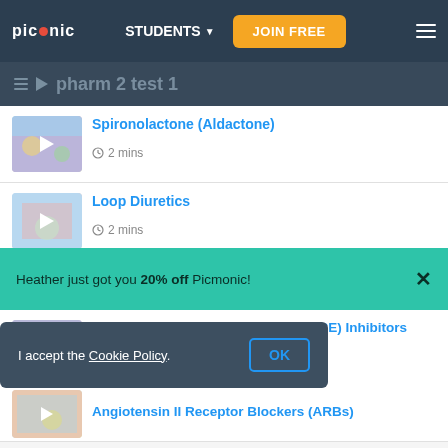picmonic | STUDENTS | JOIN FREE
pharm 2 test 1
Spironolactone (Aldactone) — 2 mins
Loop Diuretics — 2 mins
Hydrochlorothiazide HCTZ
Heather just got you 20% off Picmonic!
Angiotensin-Converting Enzyme (ACE) Inhibitors
I accept the Cookie Policy. OK
Angiotensin II Receptor Blockers (ARBs)